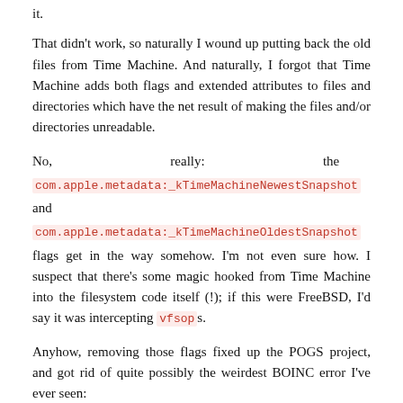it.
That didn't work, so naturally I wound up putting back the old files from Time Machine. And naturally, I forgot that Time Machine adds both flags and extended attributes to files and directories which have the net result of making the files and/or directories unreadable.
No,                          really:                          the com.apple.metadata:_kTimeMachineNewestSnapshot and com.apple.metadata:_kTimeMachineOldestSnapshot flags get in the way somehow. I'm not even sure how. I suspect that there's some magic hooked from Time Machine into the filesystem code itself (!); if this were FreeBSD, I'd say it was intercepting vfsops.
Anyhow, removing those flags fixed up the POGS project, and got rid of quite possibly the weirdest BOINC error I've ever seen:
Tue  6 Aug 06:57:20 2013 |  | [error] Can't create